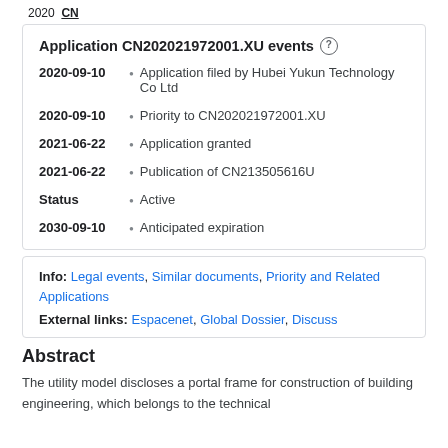Application CN202021972001.XU events
2020-09-10 • Application filed by Hubei Yukun Technology Co Ltd
2020-09-10 • Priority to CN202021972001.XU
2021-06-22 • Application granted
2021-06-22 • Publication of CN213505616U
Status • Active
2030-09-10 • Anticipated expiration
Info: Legal events, Similar documents, Priority and Related Applications
External links: Espacenet, Global Dossier, Discuss
Abstract
The utility model discloses a portal frame for construction of building engineering, which belongs to the technical